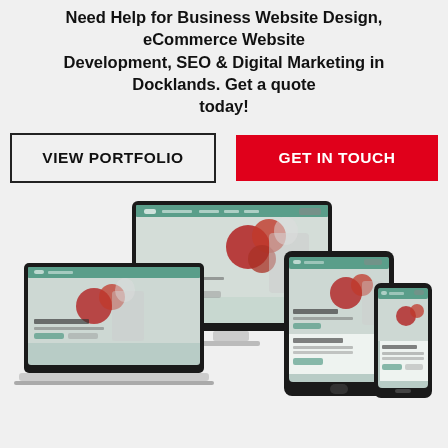Need Help for Business Website Design, eCommerce Website Development, SEO & Digital Marketing in Docklands. Get a quote today!
[Figure (illustration): Two call-to-action buttons: 'VIEW PORTFOLIO' (outlined) and 'GET IN TOUCH' (red filled)]
[Figure (screenshot): Responsive device mockup showing a website called 'Coronavirus Deep Cleaning' displayed on a desktop iMac, laptop, tablet, and mobile phone]